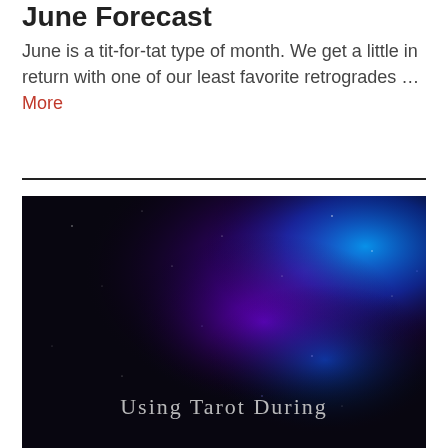June Forecast
June is a tit-for-tat type of month. We get a little in return with one of our least favorite retrogrades … More
[Figure (photo): Dark cosmic/nebula background image with purple and blue glowing clouds against black space, with overlay text reading 'Using Tarot During' at the bottom]